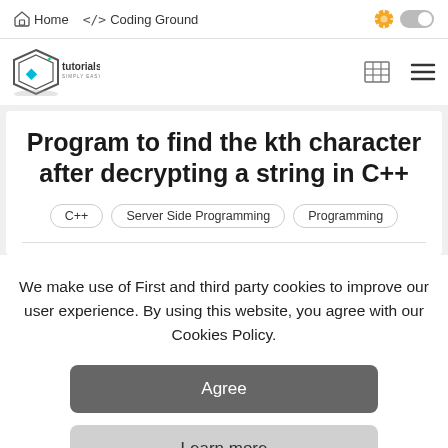Home   </> Coding Ground
[Figure (logo): Tutorialspoint logo with diamond shape and 'tutorialspoint SIMPLY EASY LEARNING' text]
Program to find the kth character after decrypting a string in C++
C++
Server Side Programming
Programming
We make use of First and third party cookies to improve our user experience. By using this website, you agree with our Cookies Policy.
Agree
Learn more